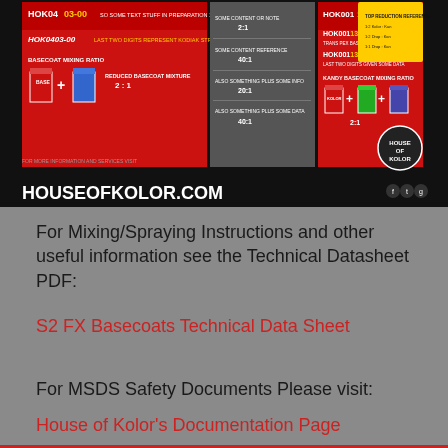[Figure (screenshot): House of Kolor product information banner showing HOK0403-00 and HOK001132-00 basecoat mixing ratios with paint can icons, red and dark grey panels, and HOUSEOFKOLOR.COM website URL at the bottom]
For Mixing/Spraying Instructions and other useful information see the Technical Datasheet PDF:
S2 FX Basecoats Technical Data Sheet
For MSDS Safety Documents Please visit:
House of Kolor's Documentation Page